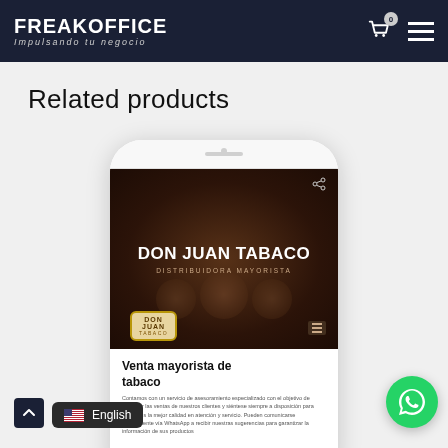FREAKOFFICE Impulsando tu negocio
Related products
[Figure (screenshot): Mobile phone mockup showing Don Juan Tabaco website with hero image reading 'DON JUAN TABACO DISTRIBUIDORA MAYORISTA', a Don Juan Tabaco badge logo, and text below reading 'Venta mayorista de tabaco' with a short paragraph description.]
[Figure (logo): WhatsApp contact button (green circle with phone icon) in bottom right corner.]
English